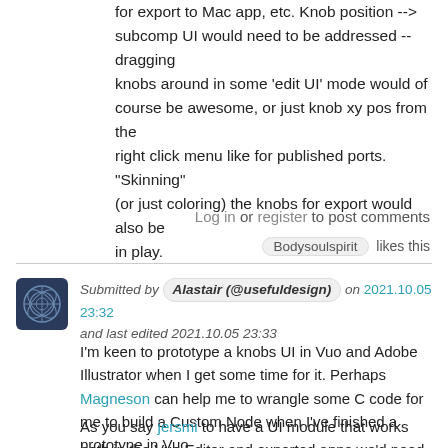for export to Mac app, etc. Knob position --> subcomp UI would need to be addressed -- dragging knobs around in some 'edit UI' mode would of course be awesome, or just knob xy pos from the right click menu like for published ports. "Skinning" (or just coloring) the knobs for export would also be in play.
Log in or register to post comments
Bodysoulspirit likes this
Submitted by Alastair (@usefuldesign) on 2021.10.05 23:32 and last edited 2021.10.05 23:33
I'm keen to prototype a knobs UI in Vuo and Adobe Illustrator when I get some time for it. Perhaps Magneson can help me to wrangle some C code for me to build a Custom Node when I've finished a prototype in Vuo.
As you say jersmi to have a UI module that works both in the Vuo Editor and exported apps we'd need a new Vuo feature class to pull that off.